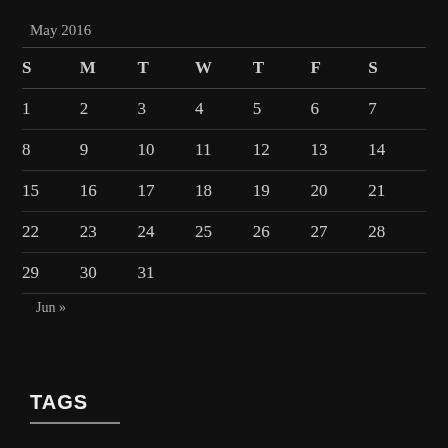May 2016
| S | M | T | W | T | F | S |
| --- | --- | --- | --- | --- | --- | --- |
| 1 | 2 | 3 | 4 | 5 | 6 | 7 |
| 8 | 9 | 10 | 11 | 12 | 13 | 14 |
| 15 | 16 | 17 | 18 | 19 | 20 | 21 |
| 22 | 23 | 24 | 25 | 26 | 27 | 28 |
| 29 | 30 | 31 |  |  |  |  |
Jun »
TAGS